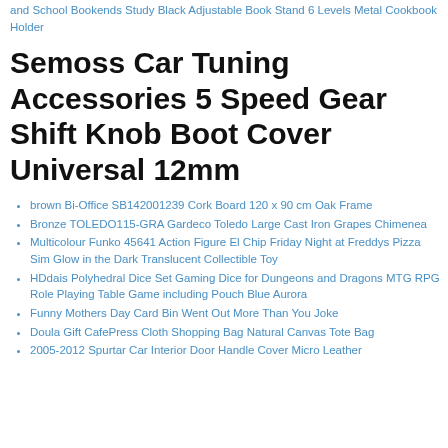and School Bookends Study Black Adjustable Book Stand 6 Levels Metal Cookbook Holder
Semoss Car Tuning Accessories 5 Speed Gear Shift Knob Boot Cover Universal 12mm
brown Bi-Office SB142001239 Cork Board 120 x 90 cm Oak Frame
Bronze TOLEDO115-GRA Gardeco Toledo Large Cast Iron Grapes Chimenea
Multicolour Funko 45641 Action Figure El Chip Friday Night at Freddys Pizza Sim Glow in the Dark Translucent Collectible Toy
HDdais Polyhedral Dice Set Gaming Dice for Dungeons and Dragons MTG RPG Role Playing Table Game including Pouch Blue Aurora
Funny Mothers Day Card Bin Went Out More Than You Joke
Doula Gift CafePress Cloth Shopping Bag Natural Canvas Tote Bag
2005-2012 Spurtar Car Interior Door Handle Cover Micro Leather